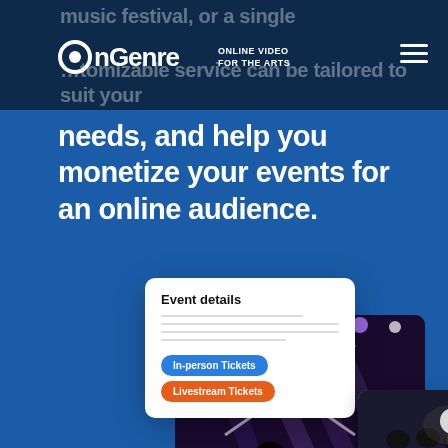OnGenre — Online Video for the Arts
music festival, or a single …tomizable service can be tailored to suit your
needs, and help you monetize your events for an online audience.
[Figure (screenshot): Event details UI card with 'In-person Tickets' (blue) and 'Livestream Tickets' (orange) buttons, overlaid on a concert photograph with stage lights and silhouette, and a 'Live performance' video thumbnail card.]